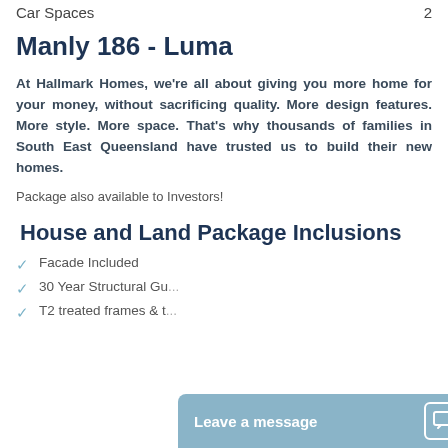Car Spaces    2
Manly 186 - Luma
At Hallmark Homes, we're all about giving you more home for your money, without sacrificing quality. More design features. More style. More space. That's why thousands of families in South East Queensland have trusted us to build their new homes.
Package also available to Investors!
House and Land Package Inclusions
Facade Included
30 Year Structural Gu...
T2 treated frames & t...